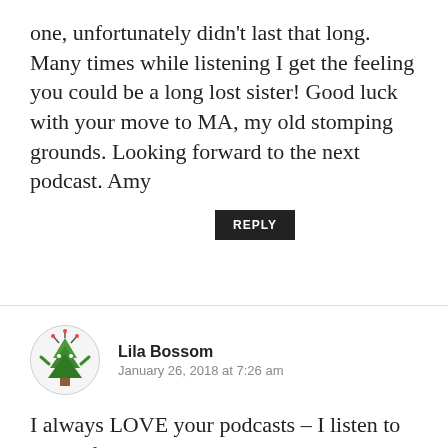one, unfortunately didn't last that long. Many times while listening I get the feeling you could be a long lost sister! Good luck with your move to MA, my old stomping grounds. Looking forward to the next podcast. Amy
REPLY
Lila Bossom  January 26, 2018 at 7:26 am
I always LOVE your podcasts – I listen to most of them twice just to make sure that I didn't miss anything. 🙂 I truly enjoyed how encouraging some of the